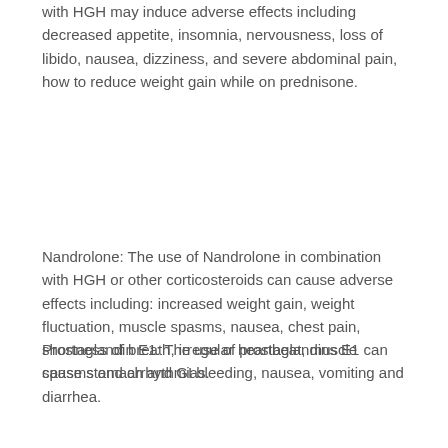with HGH may induce adverse effects including decreased appetite, insomnia, nervousness, loss of libido, nausea, dizziness, and severe abdominal pain, how to reduce weight gain while on prednisone.
Nandrolone: The use of Nandrolone in combination with HGH or other corticosteroids can cause adverse effects including: increased weight gain, weight fluctuation, muscle spasms, nausea, chest pain, shortness of breath, irregular heartbeat, muscle spasms and arrhythmias.
Prostaglandin E1: The use of prostaglandins E1 can cause stomach and GI bleeding, nausea, vomiting and diarrhea.